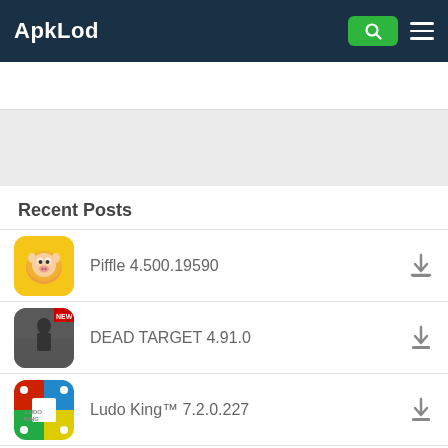ApkLod
Recent Posts
Piffle 4.500.19590
DEAD TARGET 4.91.0
Ludo King™ 7.2.0.227
Monster Box 0.4.22